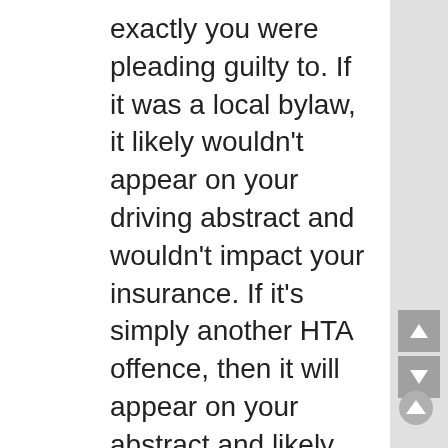exactly you were pleading guilty to. If it was a local bylaw, it likely wouldn't appear on your driving abstract and wouldn't impact your insurance. If it's simply another HTA offence, then it will appear on your abstract and likely will impact your insurance.